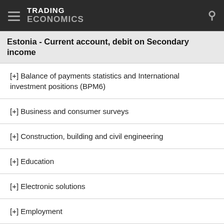TRADING ECONOMICS
Estonia - Current account, debit on Secondary income
[+] Balance of payments statistics and International investment positions (BPM6)
[+] Business and consumer surveys
[+] Construction, building and civil engineering
[+] Education
[+] Electronic solutions
[+] Employment
[+] Energy statistics
[+] Final consumption expenditure of households and NPISH